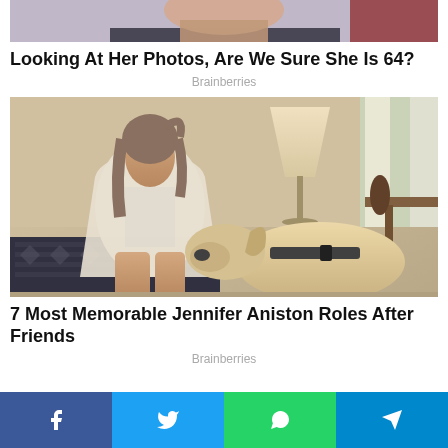[Figure (photo): Cropped photo of a woman, partially visible from shoulders/neck up, dark background with red]
Looking At Her Photos, Are We Sure She Is 64?
Brainberries
[Figure (photo): Woman with ponytail wearing white cardigan and blue tank top sitting on patterned couch with a yellow Labrador dog resting its head on her lap, lamp and window visible in background — indoor scene]
7 Most Memorable Jennifer Aniston Roles After Friends
Brainberries